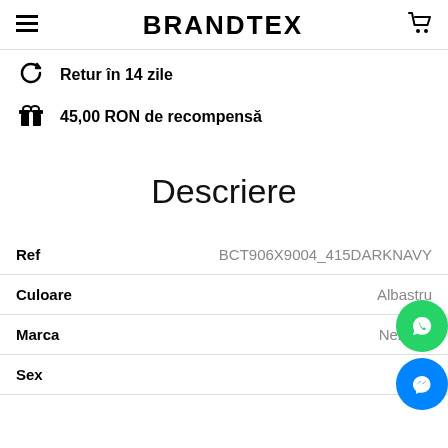BRANDTEX
Retur în 14 zile
45,00 RON de recompensă
Descriere
|  |  |
| --- | --- |
| Ref | BCT906X9004_415DARKNAVY |
| Culoare | Albastru |
| Marca | Neil Bar… |
| Sex | Bă… |